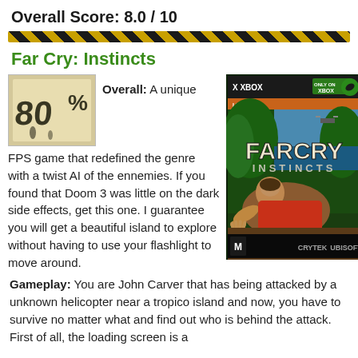Overall Score: 8.0 / 10
Far Cry: Instincts
[Figure (illustration): 80% score badge with graffiti-style text]
Overall: A unique FPS game that redefined the genre with a twist AI of the ennemies. If you found that Doom 3 was little on the dark side effects, get this one. I guarantee you will get a beautiful island to explore without having to use your flashlight to move around.
[Figure (photo): Far Cry Instincts Xbox game cover showing a man crawling with the game title and Xbox/Ubisoft/Crytek logos]
Gameplay: You are John Carver that has being attacked by a unknown helicopter near a tropico island and now, you have to survive no matter what and find out who is behind the attack. First of all, the loading screen is a